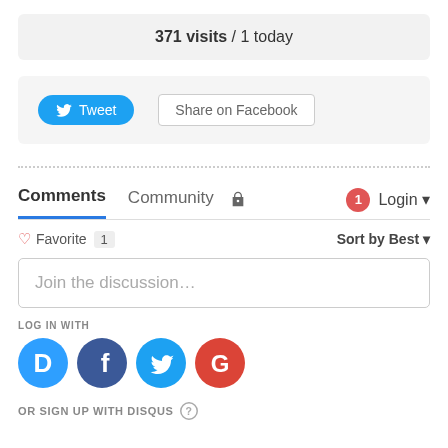371 visits / 1 today
[Figure (infographic): Tweet button (blue, rounded) and Share on Facebook button (outlined), social sharing bar]
Comments  Community  [lock icon]  [1 notification badge]  Login
♡ Favorite 1  Sort by Best
Join the discussion...
LOG IN WITH
[Figure (infographic): Four social login icons: Disqus (blue D), Facebook (dark blue F), Twitter (light blue bird), Google (red G)]
OR SIGN UP WITH DISQUS (?)